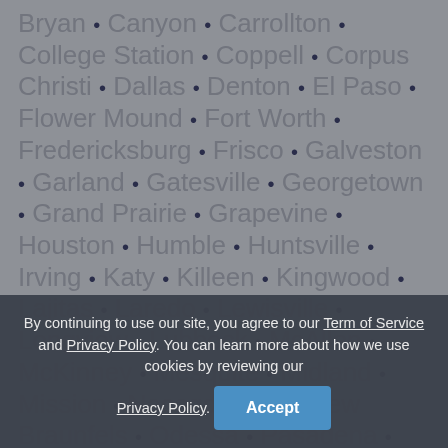Bryan • Canyon • Carrollton • College Station • Coppell • Corpus Christi • Dallas • Denton • El Paso • Flower Mound • Fort Worth • Fredericksburg • Frisco • Galveston • Garland • Gatesville • Georgetown • Grand Prairie • Grapevine • Houston • Humble • Huntsville • Irving • Katy • Killeen • Kingwood • Lajitas • Laredo • Lewisville • Longview • Lubbock • McAllen • McKinney • Mesquite • Midland • Mission • Nacogdoches • New Braunfels • Odessa • Pasadena • ... • San Marcos • ... • Sweetwater • Terlingua • The ...
By continuing to use our site, you agree to our Term of Service and Privacy Policy. You can learn more about how we use cookies by reviewing our Privacy Policy. Accept